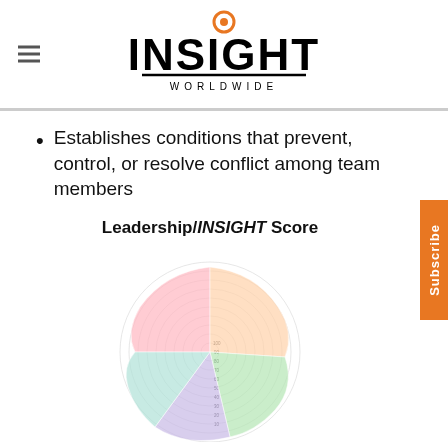INSIGHT WORLDWIDE
Establishes conditions that prevent, control, or resolve conflict among team members
Leadership/INSIGHT Score
[Figure (radar-chart): A radar/polar chart divided into multiple colored segments (pink, peach/orange, green, purple, teal) with concentric rings labeled 10 through 100 from center outward, representing Leadership/INSIGHT Score dimensions.]